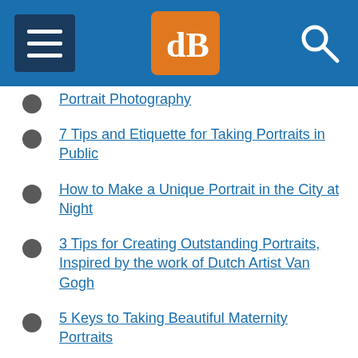dPS (digital Photography School) navigation header
Portrait Photography
7 Tips and Etiquette for Taking Portraits in Public
How to Make a Unique Portrait in the City at Night
3 Tips for Creating Outstanding Portraits, Inspired by the work of Dutch Artist Van Gogh
5 Keys to Taking Beautiful Maternity Portraits
Photographing People: To do Styled Portraits or Not?
7 Steps to Capturing Truth in Your Portraiture
Engagement Portrait Shoots: 7 Professional